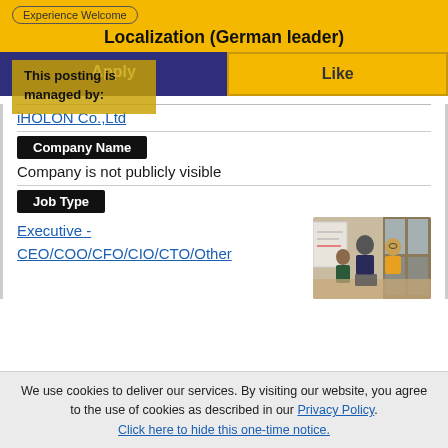Experience Welcome
Localization (German leader)
Apply
Like
This posting is managed by:
iHOLON Co.,Ltd
Company Name
Company is not publicly visible
Job Type
Executive - CEO/COO/CFO/CIO/CTO/Other
[Figure (photo): Group of business people in a meeting around a whiteboard]
We use cookies to deliver our services. By visiting our website, you agree to the use of cookies as described in our Privacy Policy. Click here to hide this one-time notice.